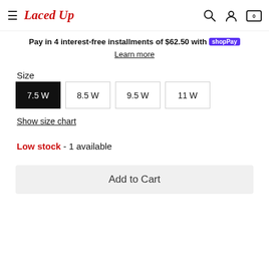Laced Up — navigation bar with hamburger menu, logo, search, account, and cart icons
Pay in 4 interest-free installments of $62.50 with shopPay
Learn more
Size
7.5 W  8.5 W  9.5 W  11 W
Show size chart
Low stock - 1 available
Add to Cart